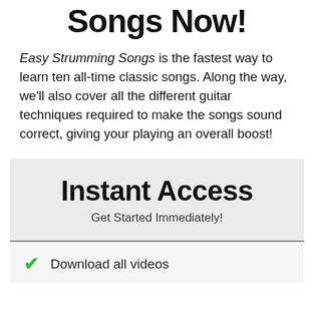Songs Now!
Easy Strumming Songs is the fastest way to learn ten all-time classic songs. Along the way, we'll also cover all the different guitar techniques required to make the songs sound correct, giving your playing an overall boost!
Instant Access
Get Started Immediately!
Download all videos